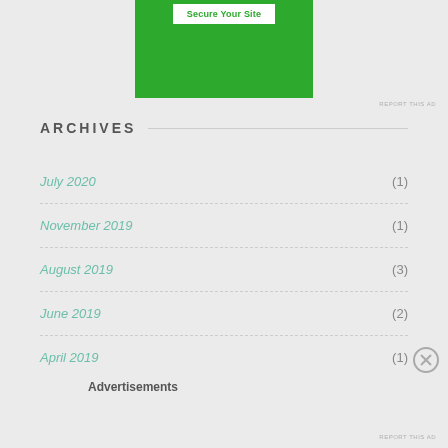[Figure (other): Green advertisement banner with white button labeled 'Secure Your Site']
REPORT THIS AD
ARCHIVES
July 2020 (1)
November 2019 (1)
August 2019 (3)
June 2019 (2)
April 2019 (1)
Advertisements
REPORT THIS AD